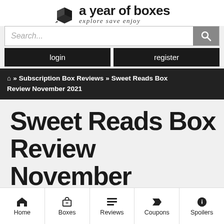[Figure (logo): A Year of Boxes logo with box icon, text 'a year of boxes' and tagline 'explore save enjoy']
Search...
login
register
🏠 » Subscription Box Reviews » Sweet Reads Box Review November 2021
Sweet Reads Box Review November
Home
Boxes
Reviews
Coupons
Spoilers